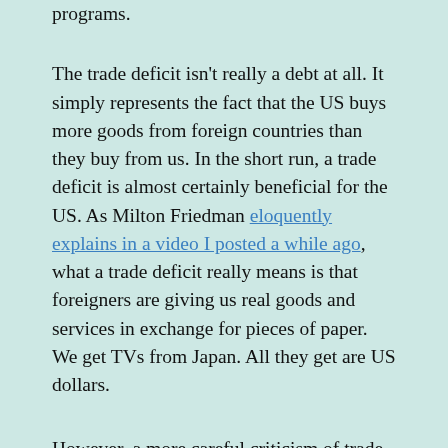programs.
The trade deficit isn’t really a debt at all. It simply represents the fact that the US buys more goods from foreign countries than they buy from us. In the short run, a trade deficit is almost certainly beneficial for the US. As Milton Friedman eloquently explains in a video I posted a while ago, what a trade deficit really means is that foreigners are giving us real goods and services in exchange for pieces of paper. We get TVs from Japan. All they get are US dollars.
However, a more careful criticism of trade deficits recognizes that trade deficits can be